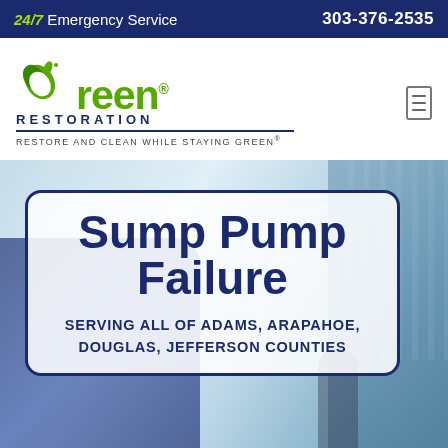24/7 Emergency Service   303-376-2535
[Figure (logo): Green Restoration logo with green leaf G icon, text 'Green' in green, 'RESTORATION' in dark navy blue, tagline 'RESTORE AND CLEAN WHILE STAYING GREEN®']
[Figure (photo): Hero image background showing a city scene with a Green Restoration van on the left and a glass building on the right, sky in background]
Sump Pump Failure
SERVING ALL OF ADAMS, ARAPAHOE, DOUGLAS, JEFFERSON COUNTIES